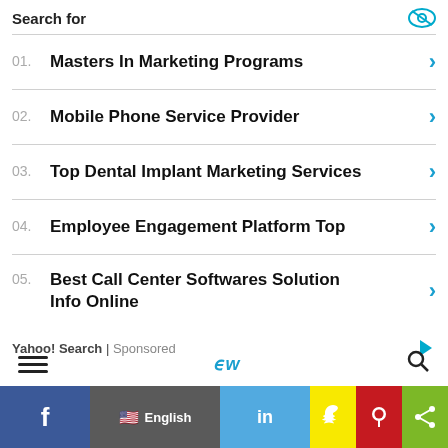Search for
01. Masters In Marketing Programs
02. Mobile Phone Service Provider
03. Top Dental Implant Marketing Services
04. Employee Engagement Platform Top
05. Best Call Center Softwares Solution Info Online
Yahoo! Search | Sponsored
f  English  in  [snapchat]  [pinterest]  [share]